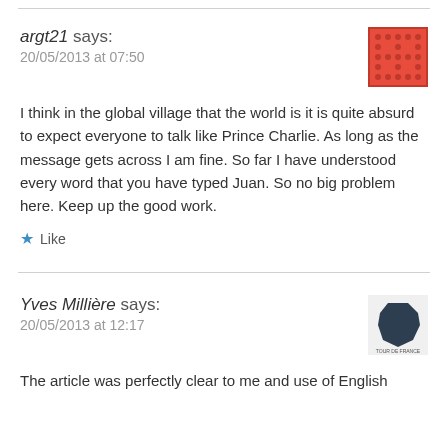argt21 says:
20/05/2013 at 07:50
I think in the global village that the world is it is quite absurd to expect everyone to talk like Prince Charlie. As long as the message gets across I am fine. So far I have understood every word that you have typed Juan. So no big problem here. Keep up the good work.
Like
Yves Millière says:
20/05/2013 at 12:17
The article was perfectly clear to me and use of English